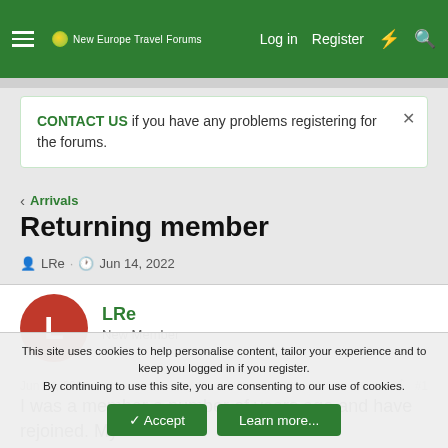New Europe Travel Forums — Log in  Register
CONTACT US if you have any problems registering for the forums.
< Arrivals
Returning member
LRe · Jun 14, 2022
LRe
New Member
Jun 14, 2022  #1
I was a member a number of years ago and have rejoined. My
This site uses cookies to help personalise content, tailor your experience and to keep you logged in if you register.
By continuing to use this site, you are consenting to our use of cookies.